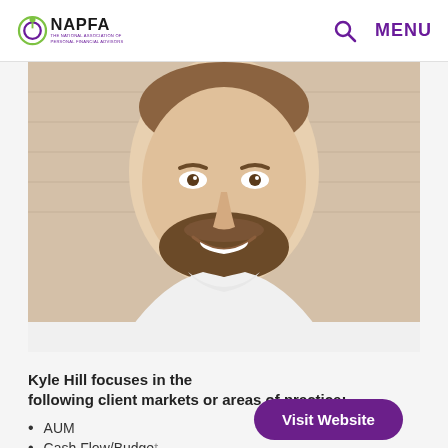NAPFA - The National Association of Personal Financial Advisors
[Figure (photo): Headshot of Kyle Hill, a young man with a beard wearing a white shirt, smiling, with a brick wall background]
Kyle Hill focuses in the following client markets or areas of practice:
AUM
Cash Flow/Budget
College/Education Planning